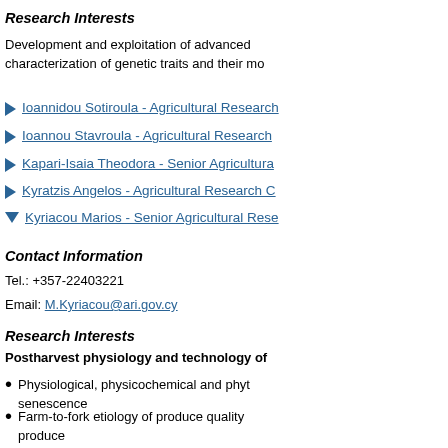Research Interests
Development and exploitation of advanced characterization of genetic traits and their mo
Ioannidou Sotiroula - Agricultural Research...
Ioannou Stavroula - Agricultural Research...
Kapari-Isaia Theodora - Senior Agricultura...
Kyratzis Angelos - Agricultural Research C...
Kyriacou Marios - Senior Agricultural Rese...
Contact Information
Tel.: +357-22403221
Email: M.Kyriacou@ari.gov.cy
Research Interests
Postharvest physiology and technology of...
Physiological, physicochemical and phyt... senescence
Farm-to-fork etiology of produce quality... produce
Rootstock-mediated effects on vegetable...
Control of postharvest physiological dis...